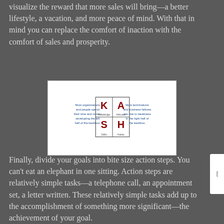visualize the reward that more sales will bring—a better lifestyle, a vacation, and more peace of mind. With that in mind you can replace the comfort of inaction with the comfort of sales and prosperity.
[Figure (infographic): KASH box diagram showing four quadrants: K (Knowledge), A (Attitudes), S (Skills), H (Habits). Left side text: 'Most organizations and people spend their time and money developing the left half of the kashbox.' Right side text: 'Most terminations and business failures are due to weakness in the right half of the kashbox.']
Finally, divide your goals into bite size action steps. You can't eat an elephant in one sitting. Action steps are relatively simple tasks—a telephone call, an appointment set, a letter written. These relatively simple tasks add up to the accomplishment of something more significant—the achievement of your goal.